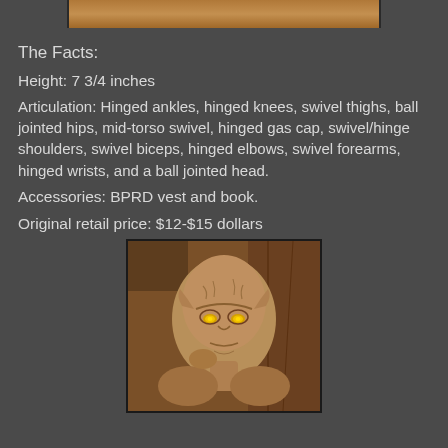[Figure (photo): Top partial photo of a creature/figure, showing brownish tones, cropped at the top of the page]
The Facts:
Height: 7 3/4 inches
Articulation: Hinged ankles, hinged knees, swivel thighs, ball jointed hips, mid-torso swivel, hinged gas cap, swivel/hinge shoulders, swivel biceps, hinged elbows, swivel forearms, hinged wrists, and a ball jointed head.
Accessories: BPRD vest and book.
Original retail price: $12-$15 dollars
[Figure (photo): Portrait photograph of a grotesque humanoid creature with wrinkled pale/tan skin, glowing yellow eyes, pointed ears, and a gaunt face — appears to be a movie prop or action figure]